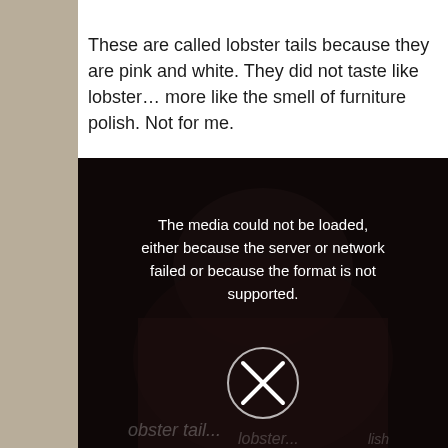These are called lobster tails because they are pink and white. They did not taste like lobster… more like the smell of furniture polish. Not for me.
[Figure (screenshot): A dark video player screenshot showing a person with a media error overlay: 'The media could not be loaded, either because the server or network failed or because the format is not supported.' with an X button and watermark text 'lobster tail... lobster... lish']